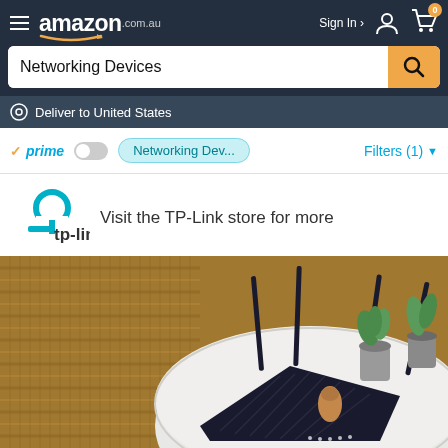amazon.com.au | Sign In | Cart (0)
Networking Devices
Deliver to United States
prime  Networking Dev...  Filters (1)
Visit the TP-Link store for more
[Figure (photo): TP-Link WiFi router with four antennas on a white round table, placed on a woven rug background with small potted plants nearby]